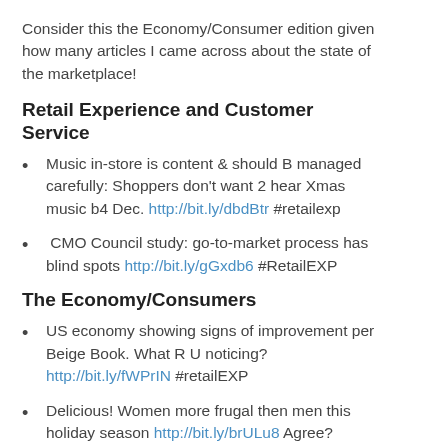Consider this the Economy/Consumer edition given how many articles I came across about the state of the marketplace!
Retail Experience and Customer Service
Music in-store is content & should B managed carefully: Shoppers don't want 2 hear Xmas music b4 Dec. http://bit.ly/dbdBtr #retailexp
CMO Council study: go-to-market process has blind spots http://bit.ly/gGxdb6 #RetailEXP
The Economy/Consumers
US economy showing signs of improvement per Beige Book. What R U noticing? http://bit.ly/fWPrIN #retailEXP
Delicious! Women more frugal then men this holiday season http://bit.ly/brULu8 Agree? disagree? #retailexp